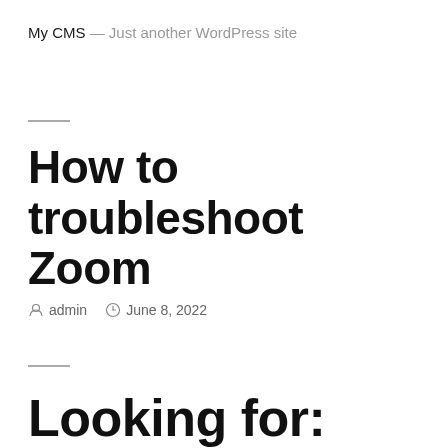My CMS — Just another WordPress site
How to troubleshoot Zoom
admin   June 8, 2022
Looking for: